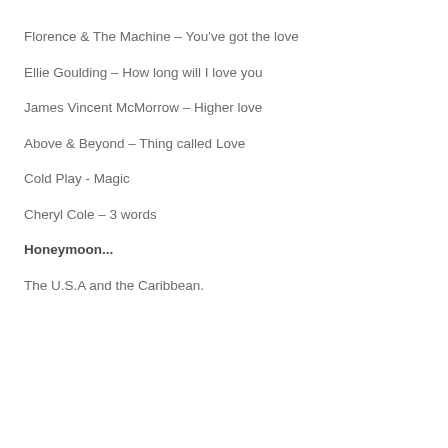Florence & The Machine – You've got the love
Ellie Goulding – How long will I love you
James Vincent McMorrow – Higher love
Above & Beyond – Thing called Love
Cold Play - Magic
Cheryl Cole – 3 words
Honeymoon...
The U.S.A and the Caribbean.